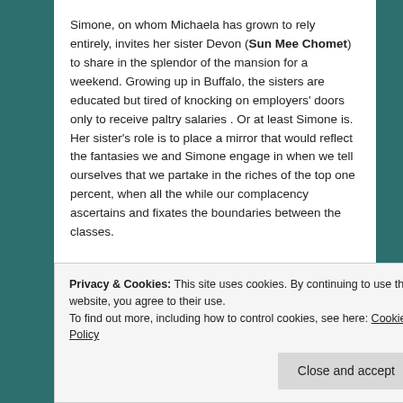Simone, on whom Michaela has grown to rely entirely, invites her sister Devon (Sun Mee Chomet) to share in the splendor of the mansion for a weekend. Growing up in Buffalo, the sisters are educated but tired of knocking on employers' doors only to receive paltry salaries . Or at least Simone is. Her sister's role is to place a mirror that would reflect the fantasies we and Simone engage in when we tell ourselves that we partake in the riches of the top one percent, when all the while our complacency ascertains and fixates the boundaries between the classes.
Privacy & Cookies: This site uses cookies. By continuing to use this website, you agree to their use.
To find out more, including how to control cookies, see here: Cookie Policy
Close and accept